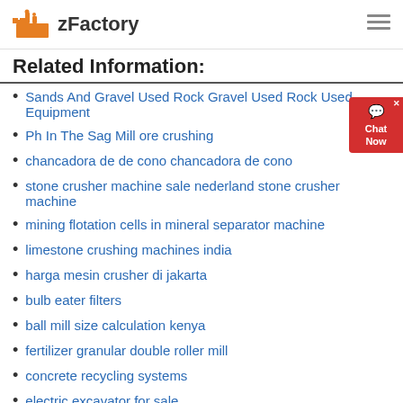zFactory
Related Information:
Sands And Gravel Used Rock Gravel Used Rock Used Equipment
Ph In The Sag Mill ore crushing
chancadora de de cono chancadora de cono
stone crusher machine sale nederland stone crusher machine
mining flotation cells in mineral separator machine
limestone crushing machines india
harga mesin crusher di jakarta
bulb eater filters
ball mill size calculation kenya
fertilizer granular double roller mill
concrete recycling systems
electric excavator for sale
Used Stamp Mill For Sale South Africa
pompa beton bekas untuk dijual amerika serikat
kegiatan crusher atau
philex mining stock price
1200 cone crushers